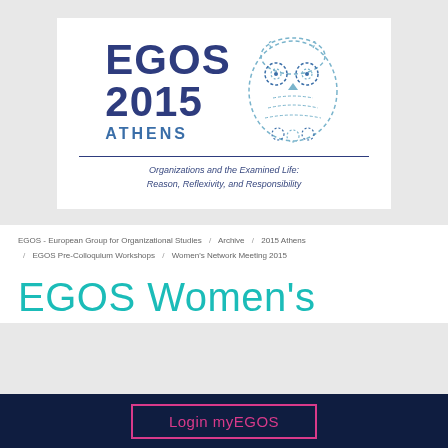[Figure (logo): EGOS 2015 Athens conference logo with owl made of dashed circles and text 'Organizations and the Examined Life: Reason, Reflexivity, and Responsibility']
EGOS - European Group for Organizational Studies / Archive / 2015 Athens / EGOS Pre-Colloquium Workshops / Women's Network Meeting 2015
EGOS Women's